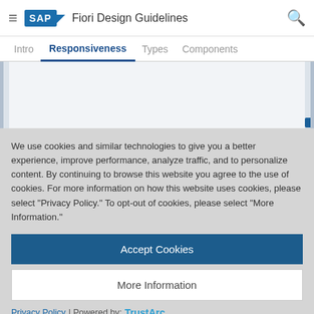SAP Fiori Design Guidelines
Intro | Responsiveness | Types | Components
[Figure (screenshot): Blurred/empty content area behind cookie modal]
We use cookies and similar technologies to give you a better experience, improve performance, analyze traffic, and to personalize content. By continuing to browse this website you agree to the use of cookies. For more information on how this website uses cookies, please select “Privacy Policy.” To opt-out of cookies, please select “More Information.”
Accept Cookies
More Information
Privacy Policy | Powered by: TrustArc
No matching items found.